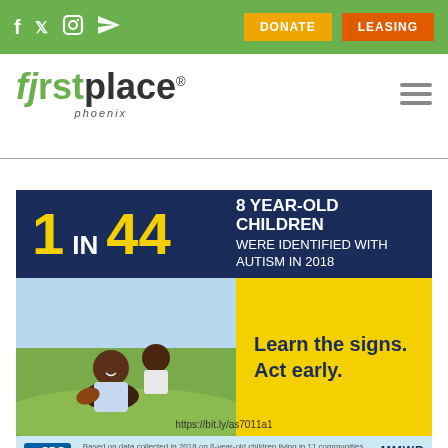Social icons: f, twitter, instagram, telegram | DONATE | LEASING
[Figure (logo): First Place Phoenix logo with green stylized 'fj' and dark 'rstplace' text, phoenix subtitle]
[Figure (infographic): CDC infographic: 1 IN 44 8 year-old children were identified with autism in 2018. Learn the signs. Act early. https://bit.ly/as7011a1 MMWR]